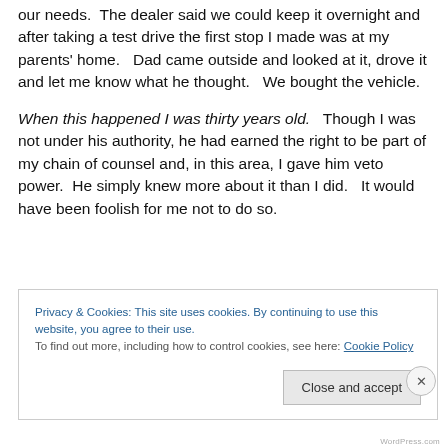our needs.  The dealer said we could keep it overnight and after taking a test drive the first stop I made was at my parents' home.  Dad came outside and looked at it, drove it and let me know what he thought.  We bought the vehicle.
When this happened I was thirty years old.  Though I was not under his authority, he had earned the right to be part of my chain of counsel and, in this area, I gave him veto power.  He simply knew more about it than I did.  It would have been foolish for me not to do so.
Privacy & Cookies: This site uses cookies. By continuing to use this website, you agree to their use.
To find out more, including how to control cookies, see here: Cookie Policy
Close and accept
WordPress.com